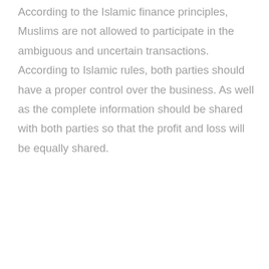According to the Islamic finance principles, Muslims are not allowed to participate in the ambiguous and uncertain transactions. According to Islamic rules, both parties should have a proper control over the business. As well as the complete information should be shared with both parties so that the profit and loss will be equally shared.